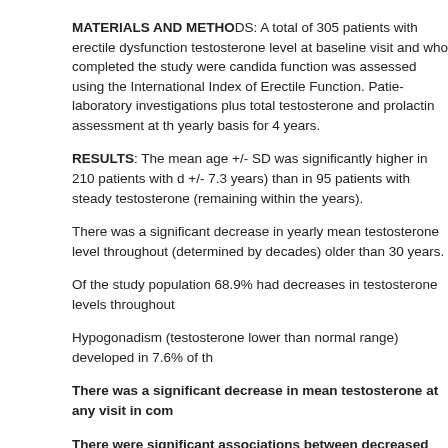MATERIALS AND METHODS: A total of 305 patients with erectile dysfunction testosterone level at baseline visit and who completed the study were candidates. function was assessed using the International Index of Erectile Function. Patients had laboratory investigations plus total testosterone and prolactin assessment at the yearly basis for 4 years.
RESULTS: The mean age +/- SD was significantly higher in 210 patients with decreasing testosterone (+/- 7.3 years) than in 95 patients with steady testosterone (remaining within the years).
There was a significant decrease in yearly mean testosterone level throughout (determined by decades) older than 30 years.
Of the study population 68.9% had decreases in testosterone levels throughout
Hypogonadism (testosterone lower than normal range) developed in 7.6% of th
There was a significant decrease in mean testosterone at any visit in comp
There were significant associations between decreased levels of testosterone of erectile dysfunction at baseline visit, longer duration and poor metabolic ischemic heart disease, hyperprolactinemia and low desire.
CONCLUSIONS: This study clearly demonstrated a decrease in testosterone levels followup in patients with erectile dysfunction. Patients with decreasing testosterone with a steady testosterone level.